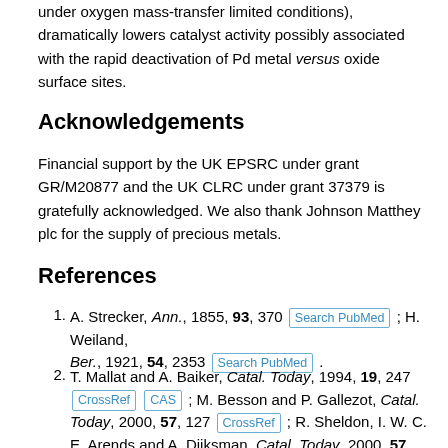under oxygen mass-transfer limited conditions), dramatically lowers catalyst activity possibly associated with the rapid deactivation of Pd metal versus oxide surface sites.
Acknowledgements
Financial support by the UK EPSRC under grant GR/M20877 and the UK CLRC under grant 37379 is gratefully acknowledged. We also thank Johnson Matthey plc for the supply of precious metals.
References
1. A. Strecker, Ann., 1855, 93, 370 [Search PubMed] ; H. Weiland, Ber., 1921, 54, 2353 [Search PubMed] .
2. T. Mallat and A. Baiker, Catal. Today, 1994, 19, 247 [CrossRef] [CAS] ; M. Besson and P. Gallezot, Catal. Today, 2000, 57, 127 [CrossRef] ; R. Sheldon, I. W. C. E. Arends and A. Dijksman, Catal. Today, 2000, 57, 157 [CrossRef] [CAS] .